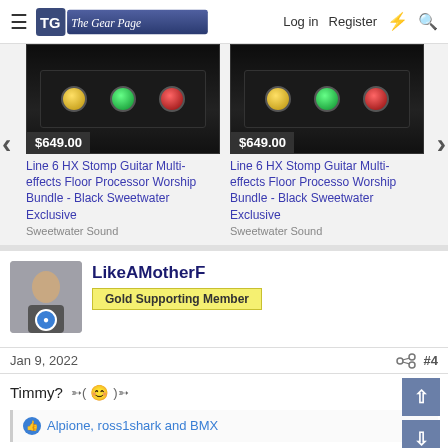The Gear Page — Log in  Register
[Figure (photo): Product listing carousel showing two Line 6 HX Stomp Guitar Multi-effects Floor Processor pedals priced at $649.00 each]
Line 6 HX Stomp Guitar Multi-effects Floor Processor Worship Bundle - Black Sweetwater Exclusive
Sweetwater Sound
Line 6 HX Stomp Guitar Multi-effects Floor Processo Worship Bundle - Black Sweetwater Exclusive
Sweetwater Sound
LikeAMotherF
Gold Supporting Member
Jan 9, 2022
#4
Timmy? ➳(😊)➳
👍 Alpione, ross1shark and BMX